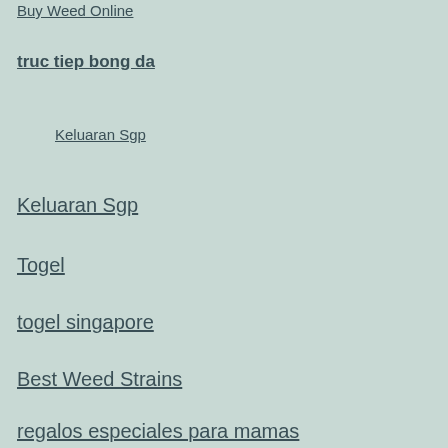Buy Weed Online
truc tiep bong da
Keluaran Sgp
Keluaran Sgp
Togel
togel singapore
Best Weed Strains
regalos especiales para mamas